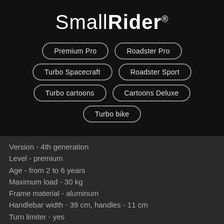SmallRider®
Premium Pro
Roadster Pro
Turbo Spacecraft
Roadster Sport
Turbo cartoons
Cartoons Deluxe
Turbo bike
Version - 4th generation
Level - premium
Age - from 2 to 6 years
Maximum load - 30 kg
Frame material - aluminum
Handlebar width - 39 cm, handles - 11 cm
Turn limiter - yes
Seat adjustment - 30-37 cm